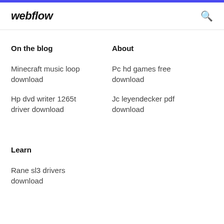webflow
On the blog
About
Minecraft music loop download
Pc hd games free download
Hp dvd writer 1265t driver download
Jc leyendecker pdf download
Learn
Rane sl3 drivers download